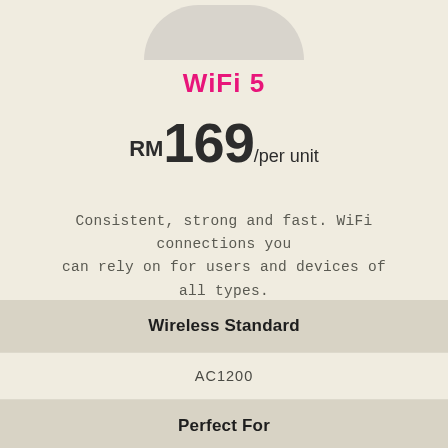[Figure (photo): Top portion of a WiFi router device shown in light gray, viewed from above with a rounded dome shape]
WiFi 5
RM169/per unit
Consistent, strong and fast. WiFi connections you can rely on for users and devices of all types.
| Wireless Standard |
| --- |
| AC1200 |
Perfect For